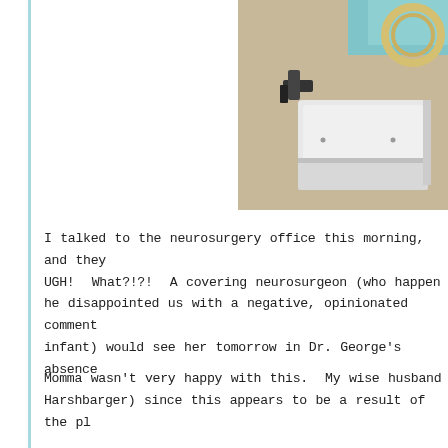[Figure (photo): A photograph of medical equipment in a hospital room, showing what appears to be a medical device or machine with white and beige components, and a teal/green fabric or covering visible at the top right corner.]
I talked to the neurosurgery office this morning, and they UGH!  What?!?!  A covering neurosurgeon (who happen he disappointed us with a negative, opinionated comment infant) would see her tomorrow in Dr. George's absence
Momma wasn't very happy with this.  My wise husband Harshbarger) since this appears to be a result of the pl